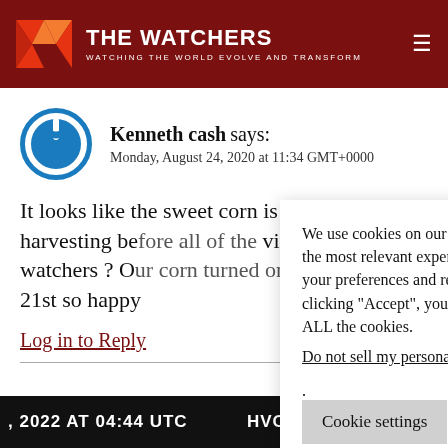THE WATCHERS — WATCHING THE WORLD EVOLVE AND TRANSFORM
Kenneth cash says:
Monday, August 24, 2020 at 11:34 GMT+0000
It looks like the sweet corn is ready for harvesting be[fore all of the] viewers/watchers ? O[ur corn turned on the] 21st so happy
Log in to Rep[ly]
We use cookies on our website to give you the most relevant experience by remembering your preferences and repeat visits. By clicking "Accept", you consent to the use of ALL the cookies.
Do not sell my personal information.
, 2022 AT 04:44 UTC   HVO TA'U ISLAN